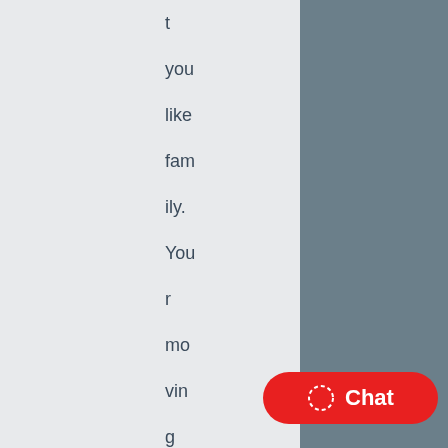t you like family. Your moving company should be local and a small co
[Figure (screenshot): A red rounded rectangle chat button with a dashed circle icon and the word Chat in white text, positioned in the lower right corner over a gray panel.]